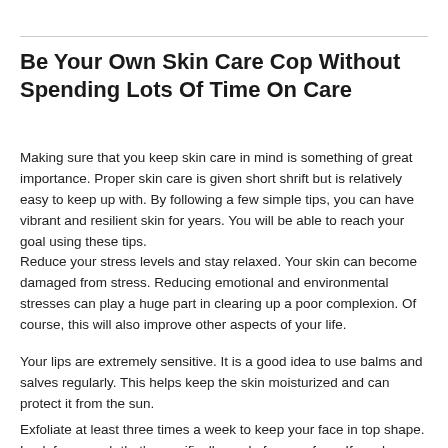Be Your Own Skin Care Cop Without Spending Lots Of Time On Care
Making sure that you keep skin care in mind is something of great importance. Proper skin care is given short shrift but is relatively easy to keep up with. By following a few simple tips, you can have vibrant and resilient skin for years. You will be able to reach your goal using these tips.
Reduce your stress levels and stay relaxed. Your skin can become damaged from stress. Reducing emotional and environmental stresses can play a huge part in clearing up a poor complexion. Of course, this will also improve other aspects of your life.
Your lips are extremely sensitive. It is a good idea to use balms and salves regularly. This helps keep the skin moisturized and can protect it from the sun.
Exfoliate at least three times a week to keep your face in top shape. Look for a scrub that's specifically made for your face. If you have